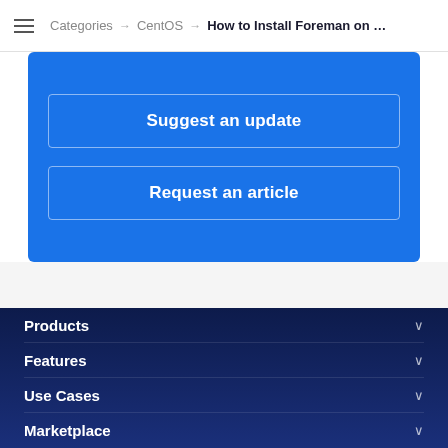Categories → CentOS → How to Install Foreman on ...
Suggest an update
Request an article
Products
Features
Use Cases
Marketplace